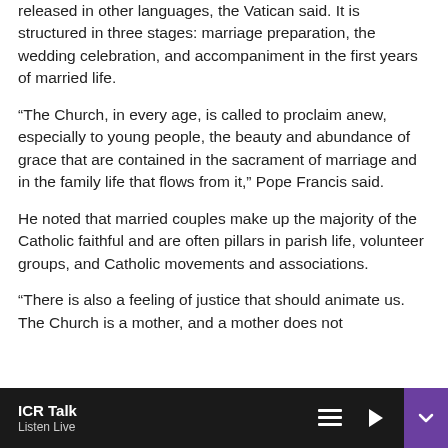released in other languages, the Vatican said. It is structured in three stages: marriage preparation, the wedding celebration, and accompaniment in the first years of married life.
“The Church, in every age, is called to proclaim anew, especially to young people, the beauty and abundance of grace that are contained in the sacrament of marriage and in the family life that flows from it,” Pope Francis said.
He noted that married couples make up the majority of the Catholic faithful and are often pillars in parish life, volunteer groups, and Catholic movements and associations.
“There is also a feeling of justice that should animate us. The Church is a mother, and a mother does not
ICR Talk
Listen Live